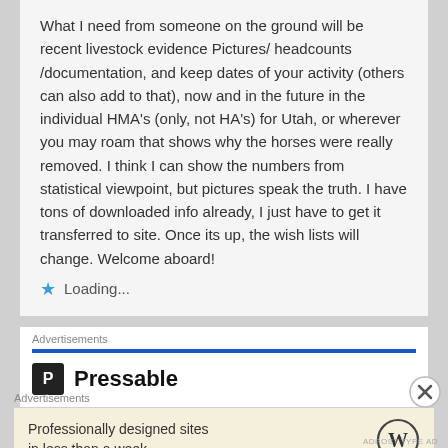What I need from someone on the ground will be recent livestock evidence Pictures/ headcounts /documentation, and keep dates of your activity (others can also add to that), now and in the future in the individual HMA's (only, not HA's) for Utah, or wherever you may roam that shows why the horses were really removed. I think I can show the numbers from statistical viewpoint, but pictures speak the truth. I have tons of downloaded info already, I just have to get it transferred to site. Once its up, the wish lists will change. Welcome aboard!
Loading...
Advertisements
[Figure (logo): Pressable logo — black square with white P and text 'Pressable']
Advertisements
Professionally designed sites in less than a week
[Figure (logo): WordPress logo — circular W mark]